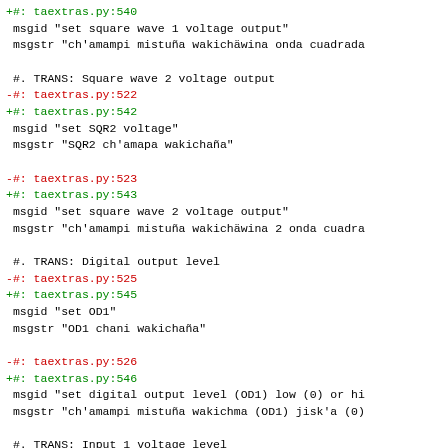+#: taextras.py:540
 msgid "set square wave 1 voltage output"
 msgstr "ch'amampi mistuña wakichäwina onda cuadrada
#. TRANS: Square wave 2 voltage output
-#: taextras.py:522
+#: taextras.py:542
 msgid "set SQR2 voltage"
 msgstr "SQR2 ch'amapa wakichaña"
-#: taextras.py:523
+#: taextras.py:543
 msgid "set square wave 2 voltage output"
 msgstr "ch'amampi mistuña wakichäwina 2 onda cuadra
#. TRANS: Digital output level
-#: taextras.py:525
+#: taextras.py:545
 msgid "set OD1"
 msgstr "OD1 chani wakichaña"
-#: taextras.py:526
+#: taextras.py:546
 msgid "set digital output level (OD1) low (0) or hi"
 msgstr "ch'amampi mistuña wakichma (OD1) jisk'a (0)
#. TRANS: Input 1 voltage level
-#: taextras.py:528
+#: taextras.py:548
 msgid "IN1 level"